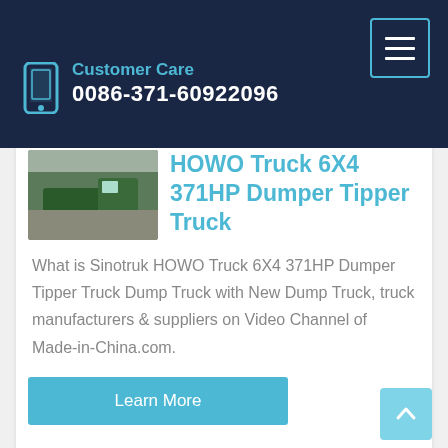Customer Care
0086-371-60922096
HOWO Truck 6X4 371HP Dumper Tipper Truck
What is Sinotruk HOWO Truck 6X4 371HP Dumper Tipper Truck Dump Truck with New Dump Truck, truck manufacturers & suppliers on Video Channel of Made-in-China.com.
Learn More
2021 new Sinotruk